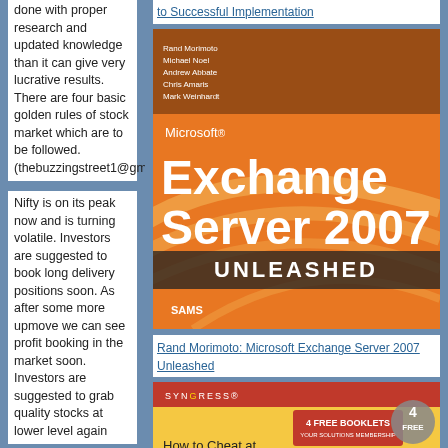done with proper research and updated knowledge than it can give very lucrative results. There are four basic golden rules of stock market which are to be followed. (thebuzzingstreet1@gmail.
Nifty is on its peak now and is turning volatile. Investors are suggested to book long delivery positions soon. As after some more upmove we can see profit booking in the market soon. Investors are suggested to grab quality stocks at lower level again
Posted by: BUZZINGSTREET at Oct 4, 2010 7:02:17 AM
Hey,
Nice and useful blog. It's a
to Successful Implementation
[Figure (photo): Book cover: Microsoft Exchange Server 2007 Unleashed by Rand Morimoto, Michael Noel, Andrew Abbate, Chris Amaris, Mark Weinhardt - orange cover published by SAMS]
Rand Morimoto: Microsoft Exchange Server 2007 Unleashed
[Figure (photo): Book cover: How to Cheat at Configuring Exchange - Syngress publisher, red/white cover, 4 Free Booklets]